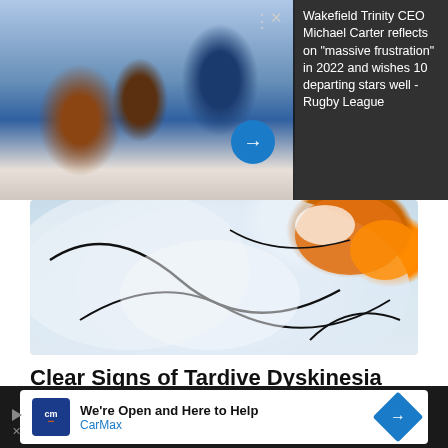[Figure (photo): Rugby players celebrating on field, one in dark red top fist-bumping players in blue jerseys, stadium seating visible in background. Blue UI lines at top. Dark overlay card on right with text. Blue circle arrow button.]
Wakefield Trinity CEO Michael Carter reflects on "massive frustration" in 2022 and wishes 10 departing stars well - Rugby League
[Figure (photo): Abstract close-up image showing what appears to be a clownfish or similar orange and white creature against a light blue/white blurry background with black curved lines.]
Clear Signs of Tardive Dyskinesia Most People May Not Realize
Tardive Dyskinesia | Search Ad
[Figure (other): CarMax advertisement banner on dark background. CarMax logo (blue square with 'cm' text), text 'We're Open and Here to Help' and 'CarMax', blue diamond arrow icon on right.]